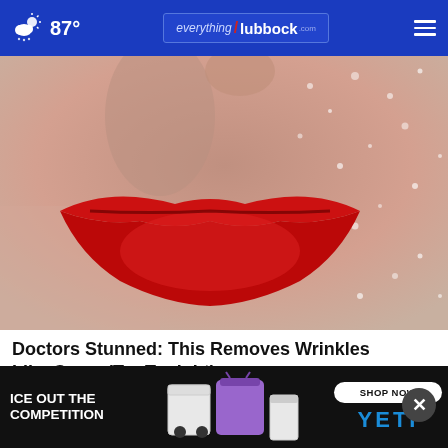87° everything/lubbock.com
[Figure (photo): Close-up photo of a person's lips with bright red lipstick and sparkling/glittery skin texture on cheeks]
Doctors Stunned: This Removes Wrinkles Like Crazy (Try Tonight)
Rejuvalift
[Figure (infographic): YETI advertisement banner: 'ICE OUT THE COMPETITION' with SHOP NOW button and YETI logo, showing coolers and drinkware products]